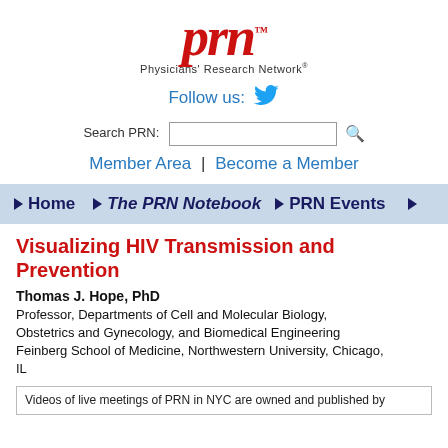[Figure (logo): PRN Physicians Research Network logo with red italic stylized 'prn' text and tagline]
Follow us:
[Figure (logo): Twitter bird icon in blue]
Search PRN:
Member Area | Become a Member
Home   The PRN Notebook   PRN Events
Visualizing HIV Transmission and Prevention
Thomas J. Hope, PhD
Professor, Departments of Cell and Molecular Biology, Obstetrics and Gynecology, and Biomedical Engineering Feinberg School of Medicine, Northwestern University, Chicago, IL
Videos of live meetings of PRN in NYC are owned and published by